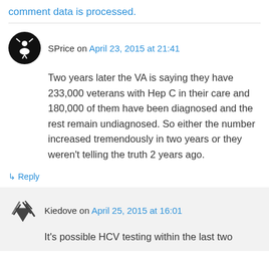comment data is processed.
SPrice on April 23, 2015 at 21:41
Two years later the VA is saying they have 233,000 veterans with Hep C in their care and 180,000 of them have been diagnosed and the rest remain undiagnosed. So either the number increased tremendously in two years or they weren't telling the truth 2 years ago.
↳ Reply
Kiedove on April 25, 2015 at 16:01
It's possible HCV testing within the last two